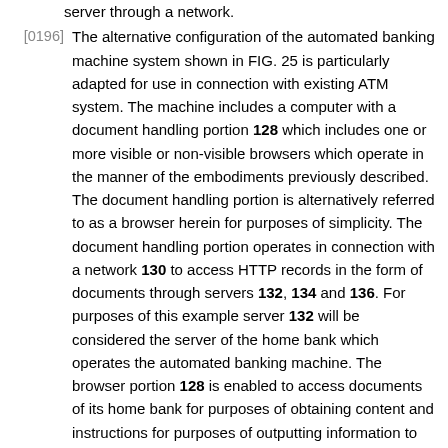server through a network.
[0196] The alternative configuration of the automated banking machine system shown in FIG. 25 is particularly adapted for use in connection with existing ATM system. The machine includes a computer with a document handling portion 128 which includes one or more visible or non-visible browsers which operate in the manner of the embodiments previously described. The document handling portion is alternatively referred to as a browser herein for purposes of simplicity. The document handling portion operates in connection with a network 130 to access HTTP records in the form of documents through servers 132, 134 and 136. For purposes of this example server 132 will be considered the server of the home bank which operates the automated banking machine. The browser portion 128 is enabled to access documents of its home bank for purposes of obtaining content and instructions for purposes of outputting information to customers as well as for operating devices on the